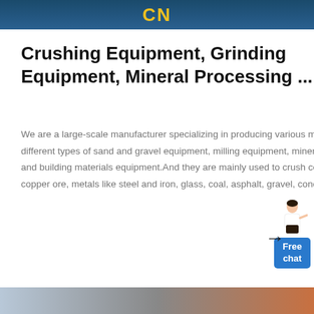[Figure (screenshot): Dark blue header banner with yellow 'CN' logo text and company name]
Crushing Equipment, Grinding Equipment, Mineral Processing ...
We are a large-scale manufacturer specializing in producing various mining machines including different types of sand and gravel equipment, milling equipment, mineral processing equipment and building materials equipment.And they are mainly used to crush coarse minerals like gold and copper ore, metals like steel and iron, glass, coal, asphalt, gravel, concrete, etc.
[Figure (illustration): Chat widget with illustrated woman and blue Free chat button]
[Figure (photo): Bottom image strip showing mining/industrial equipment photos]